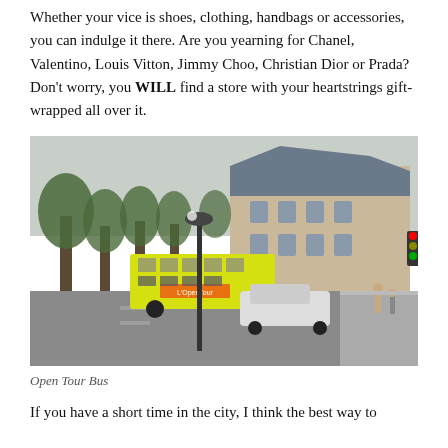Whether your vice is shoes, clothing, handbags or accessories, you can indulge it there. Are you yearning for Chanel, Valentino, Louis Vitton, Jimmy Choo, Christian Dior or Prada? Don't worry, you WILL find a store with your heartstrings gift-wrapped all over it.
[Figure (photo): Street scene in Paris with a yellow open-top double-decker tour bus (L'OpenTour), a classic Haussmann-style building in the background, trees lining the boulevard, pedestrians, cars, and a lamp post in the foreground.]
Open Tour Bus
If you have a short time in the city, I think the best way to